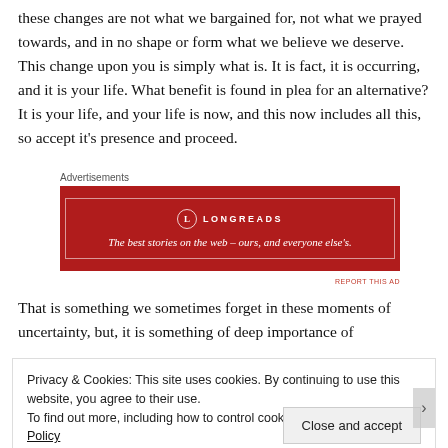these changes are not what we bargained for, not what we prayed towards, and in no shape or form what we believe we deserve. This change upon you is simply what is. It is fact, it is occurring, and it is your life. What benefit is found in plea for an alternative? It is your life, and your life is now, and this now includes all this, so accept it's presence and proceed.
[Figure (advertisement): Longreads advertisement: red background with white border box, Longreads logo and tagline 'The best stories on the web – ours, and everyone else's.']
That is something we sometimes forget in these moments of uncertainty, but, it is something of deep importance of
Privacy & Cookies: This site uses cookies. By continuing to use this website, you agree to their use.
To find out more, including how to control cookies, see here: Cookie Policy